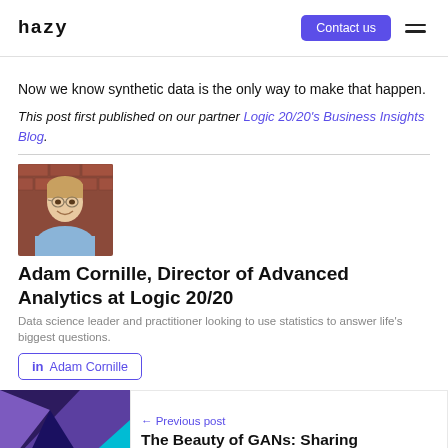hazy | Contact us
Now we know synthetic data is the only way to make that happen.
This post first published on our partner Logic 20/20's Business Insights Blog.
[Figure (photo): Photo of Adam Cornille, a young man with light brown hair, smiling in front of a brick wall]
Adam Cornille, Director of Advanced Analytics at Logic 20/20
Data science leader and practitioner looking to use statistics to answer life's biggest questions.
in Adam Cornille
[Figure (photo): Colorful geometric abstract image with purple, teal, and dark blue triangular shapes]
← Previous post
The Beauty of GANs: Sharing